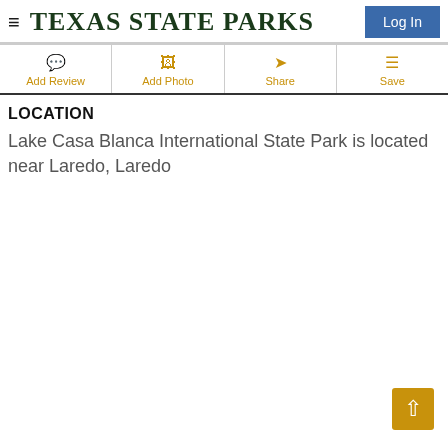TEXAS STATE PARKS
LOCATION
Lake Casa Blanca International State Park is located near Laredo, Laredo